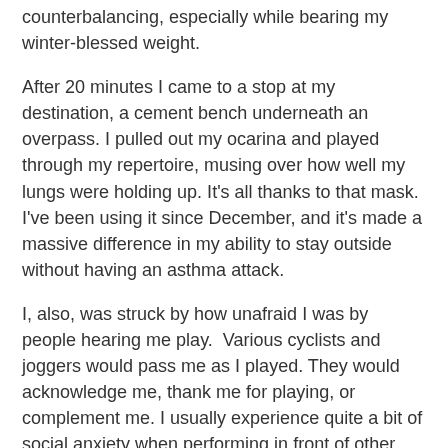counterbalancing, especially while bearing my winter-blessed weight.
After 20 minutes I came to a stop at my destination, a cement bench underneath an overpass. I pulled out my ocarina and played through my repertoire, musing over how well my lungs were holding up. It's all thanks to that mask. I've been using it since December, and it's made a massive difference in my ability to stay outside without having an asthma attack.
I, also, was struck by how unafraid I was by people hearing me play.  Various cyclists and joggers would pass me as I played. They would acknowledge me, thank me for playing, or complement me. I usually experience quite a bit of social anxiety when performing in front of other people. I'll have to try to analyze this later to see why I experienced none of that today. Perhaps it's because I've been practicing so much that I felt confident in my skills. Or perhaps I was simply so exhilarated to be outside and enjoying the day that I forgot to be worried. Perhaps it was a little bit of both.